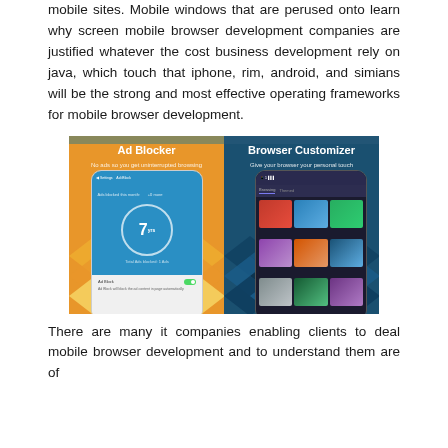mobile sites. Mobile windows that are perused onto learn why screen mobile browser development companies are justified whatever the cost business development rely on java, which touch that iphone, rim, android, and simians will be the strong and most effective operating frameworks for mobile browser development.
[Figure (screenshot): Two smartphone screenshots side by side showing 'Ad Blocker' app with 'No ads so you get uninterrupted browsing' and 'Browser Customizer' app with 'Give your browser your personal touch', set against orange/yellow and dark blue backgrounds with chevron patterns.]
There are many it companies enabling clients to deal mobile browser development and to understand them are of